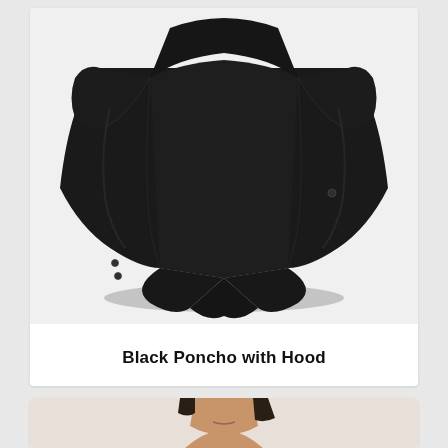[Figure (photo): A black poncho with hood displayed flat/floating, showing short sleeves and a pointed hemline at the bottom. The garment is made of dark, slightly shiny fabric.]
Black Poncho with Hood
[Figure (photo): Partial view of a person (neck and lower face visible) wearing or near the product, cropped at bottom of page.]